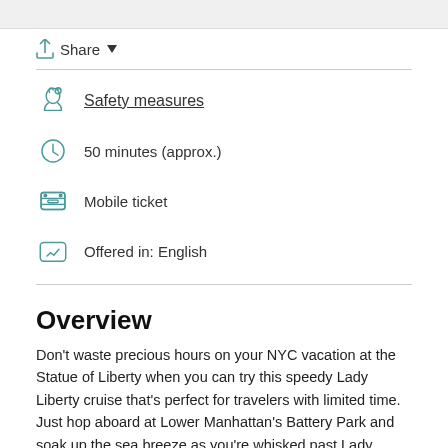Share
Safety measures
50 minutes (approx.)
Mobile ticket
Offered in: English
Overview
Don't waste precious hours on your NYC vacation at the Statue of Liberty when you can try this speedy Lady Liberty cruise that's perfect for travelers with limited time. Just hop aboard at Lower Manhattan's Battery Park and soak up the sea breeze as you're whisked past Lady Liberty. You can marvel at the